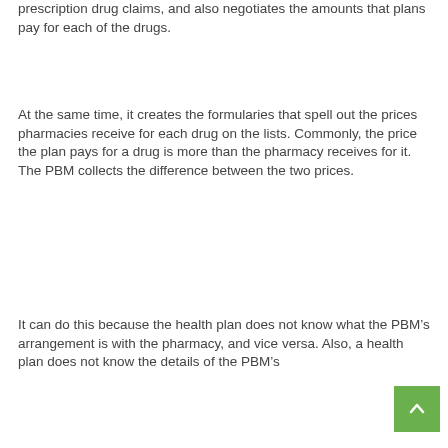prescription drug claims, and also negotiates the amounts that plans pay for each of the drugs.
At the same time, it creates the formularies that spell out the prices pharmacies receive for each drug on the lists. Commonly, the price the plan pays for a drug is more than the pharmacy receives for it. The PBM collects the difference between the two prices.
It can do this because the health plan does not know what the PBM’s arrangement is with the pharmacy, and vice versa. Also, a health plan does not know the details of the PBM’s